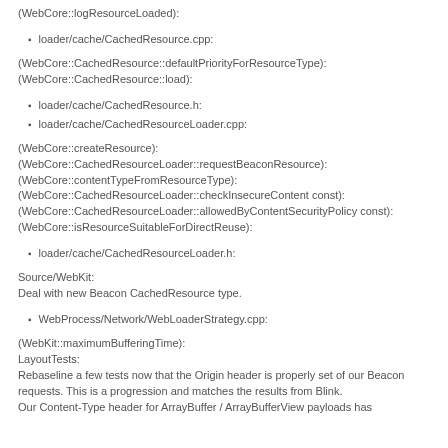(WebCore::logResourceLoaded):
loader/cache/CachedResource.cpp:
(WebCore::CachedResource::defaultPriorityForResourceType):
(WebCore::CachedResource::load):
loader/cache/CachedResource.h:
loader/cache/CachedResourceLoader.cpp:
(WebCore::createResource):
(WebCore::CachedResourceLoader::requestBeaconResource):
(WebCore::contentTypeFromResourceType):
(WebCore::CachedResourceLoader::checkInsecureContent const):
(WebCore::CachedResourceLoader::allowedByContentSecurityPolicy const):
(WebCore::isResourceSuitableForDirectReuse):
loader/cache/CachedResourceLoader.h:
Source/WebKit:
Deal with new Beacon CachedResource type.
WebProcess/Network/WebLoaderStrategy.cpp:
(WebKit::maximumBufferingTime):
LayoutTests:
Rebaseline a few tests now that the Origin header is properly set of our Beacon
requests. This is a progression and matches the results from Blink.
Our Content-Type header for ArrayBuffer / ArrayBufferView payloads has